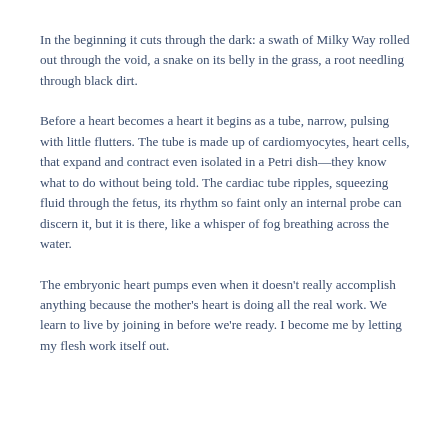In the beginning it cuts through the dark: a swath of Milky Way rolled out through the void, a snake on its belly in the grass, a root needling through black dirt.
Before a heart becomes a heart it begins as a tube, narrow, pulsing with little flutters. The tube is made up of cardiomyocytes, heart cells, that expand and contract even isolated in a Petri dish—they know what to do without being told. The cardiac tube ripples, squeezing fluid through the fetus, its rhythm so faint only an internal probe can discern it, but it is there, like a whisper of fog breathing across the water.
The embryonic heart pumps even when it doesn't really accomplish anything because the mother's heart is doing all the real work. We learn to live by joining in before we're ready. I become me by letting my flesh work itself out.